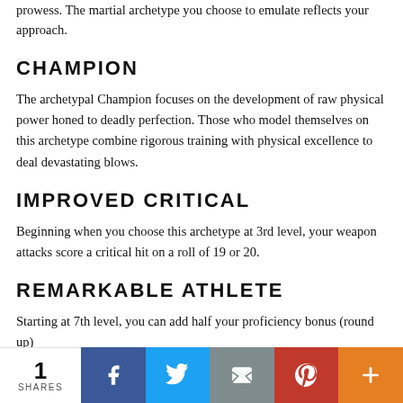prowess. The martial archetype you choose to emulate reflects your approach.
CHAMPION
The archetypal Champion focuses on the development of raw physical power honed to deadly perfection. Those who model themselves on this archetype combine rigorous training with physical excellence to deal devastating blows.
IMPROVED CRITICAL
Beginning when you choose this archetype at 3rd level, your weapon attacks score a critical hit on a roll of 19 or 20.
REMARKABLE ATHLETE
Starting at 7th level, you can add half your proficiency bonus (round up)
1 SHARES | Facebook | Twitter | Email | Pinterest | More